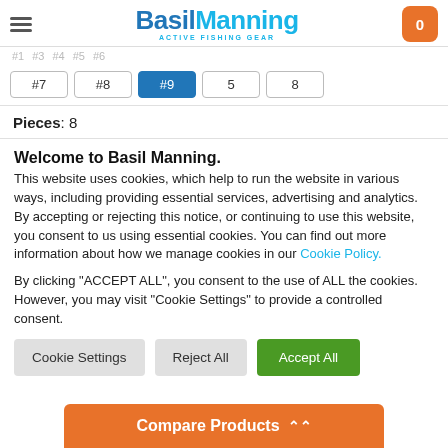Basil Manning — Active Fishing Gear header with hamburger menu and cart
#7  #8  #9  5  8 (size selector tabs, #9 active)
Pieces: 8
Welcome to Basil Manning.
This website uses cookies, which help to run the website in various ways, including providing essential services, advertising and analytics. By accepting or rejecting this notice, or continuing to use this website, you consent to us using essential cookies. You can find out more information about how we manage cookies in our Cookie Policy.
By clicking "ACCEPT ALL", you consent to the use of ALL the cookies. However, you may visit "Cookie Settings" to provide a controlled consent.
Cookie Settings  Reject All  Accept All (buttons)
Compare Products